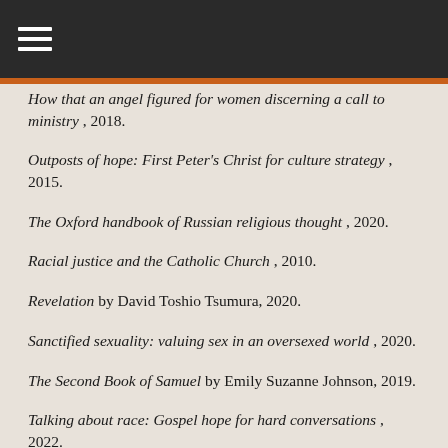Navigation header bar
How that an angel figured for women discerning a call to ministry, 2018.
Outposts of hope: First Peter's Christ for culture strategy, 2015.
The Oxford handbook of Russian religious thought, 2020.
Racial justice and the Catholic Church, 2010.
Revelation by David Toshio Tsumura, 2020.
Sanctified sexuality: valuing sex in an oversexed world, 2020.
The Second Book of Samuel by Emily Suzanne Johnson, 2019.
Talking about race: Gospel hope for hard conversations, 2022.